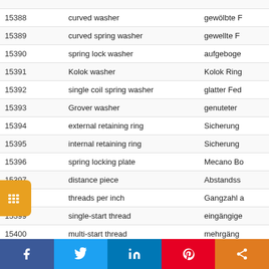| ID | English | German |
| --- | --- | --- |
| 15388 | curved washer | gewölbte F... |
| 15389 | curved spring washer | gewellte F... |
| 15390 | spring lock washer | aufgeboge... |
| 15391 | Kolok washer | Kolok Ring... |
| 15392 | single coil spring washer | glatter Fed... |
| 15393 | Grover washer | genuteter... |
| 15394 | external retaining ring | Sicherung... |
| 15395 | internal retaining ring | Sicherung... |
| 15396 | spring locking plate | Mecano Bo... |
| 15397 | distance piece | Abstandss... |
| 15398 | threads per inch | Gangzahl a... |
| 15399 | single-start thread | eingängige... |
| 15400 | multi-start thread | mehrgäng... |
| 15401 | nominal diameter of thread | Gewinde-N... |
| 15402 | taping drill size | Bohrerdur... Gewindeke... |
| 15403 | basic effective diameter... | E... |
Facebook | Twitter | LinkedIn | Pinterest | Share